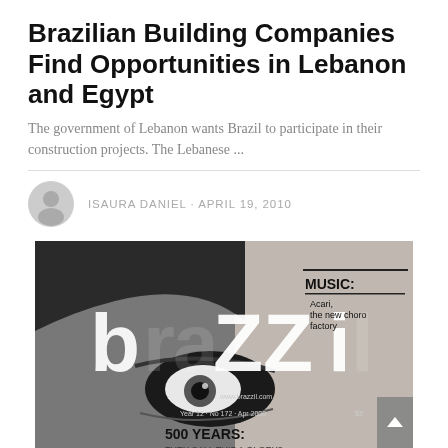Brazilian Building Companies Find Opportunities in Lebanon and Egypt
The government of Lebanon wants Brazil to participate in their construction projects. The Lebanese ...
ISAURA DANIEL · APRIL 19, 2010
[Figure (photo): Black and white magazine cover of 'brazzil' magazine showing a close-up of a person's eye. Text on cover includes: MUSIC: Acari, the new choro factory; Year 12 · No 172 · Apr 2000; 500 YEARS: THEY CALL THIS A GLORY?]